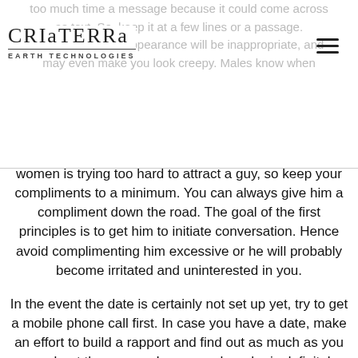too much time a message because it could come across as text. So, keep it at a few lines or a passage. Compliments on appearance will be inappropriate, and may even make you look creepy. Males know when
[Figure (logo): Criaterra Earth Technologies logo with stylized lettering and underline]
women is trying too hard to attract a guy, so keep your compliments to a minimum. You can always give him a compliment down the road. The goal of the first principles is to get him to initiate conversation. Hence avoid complimenting him excessive or he will probably become irritated and uninterested in you.
In the event the date is certainly not set up yet, try to get a mobile phone call first. In case you have a date, make an effort to build a rapport and find out as much as you can about the person. In cases where he is definitely interested, he will want in order to meet you! Besides, if he has been open to having a espresso with you, it's also possible to start a allure.